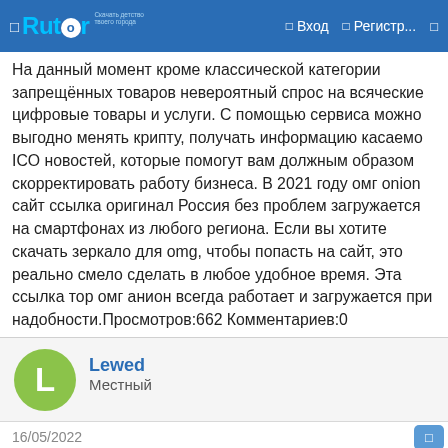Rutor — Вход Регистр...
На данный момент кроме классической категории запрещённых товаров невероятный спрос на всяческие цифровые товары и услуги. С помощью сервиса можно выгодно менять крипту, получать информацию касаемо ICO новостей, которые помогут вам должным образом скорректировать работу бизнеса. В 2021 году омг onion сайт ссылка оригинал Россия без проблем загружается на смартфонах из любого региона. Если вы хотите скачать зеркало для omg, чтобы попасть на сайт, это реально смело сделать в любое удобное время. Эта ссылка тор омг анион всегда работает и загружается при надобности.Просмотров:662 Комментариев:0
Lewed
Местный
16/05/2022 #6
Kalemegdanska 1878000 Banja Luka+387 51 462 146 Fax:+387 51 463 143office @unitedwomenbl.org11.